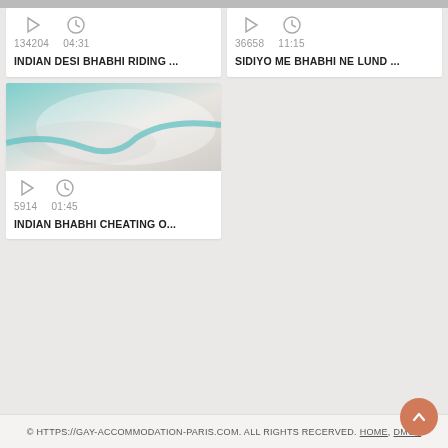[Figure (screenshot): Top strip showing partial thumbnail images of two videos]
[Figure (screenshot): Video card left: play icon, clock icon, 134204 views, 04:31 duration, title INDIAN DESI BHABHI RIDING ...]
[Figure (screenshot): Video card right: play icon, clock icon, 36658 views, 11:15 duration, title SIDIYO ME BHABHI NE LUND ...]
[Figure (screenshot): Video card bottom-left with pillow thumbnail: play icon, clock icon, 5914 views, 01:45 duration, title INDIAN BHABHI CHEATING O...]
© HTTPS://GAY-ACCOMMODATION-PARIS.COM. ALL RIGHTS RECERVED. HOME, DMCA